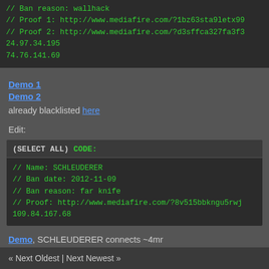// Ban reason: wallhack
// Proof 1: http://www.mediafire.com/?1bz63sta9letx99
// Proof 2: http://www.mediafire.com/?d3sffca327fa3f3
24.97.34.195
74.76.141.69
Demo 1
Demo 2
already blacklisted here
Edit:
(SELECT ALL) CODE:
// Name: SCHLEUDERER
// Ban date: 2012-11-09
// Ban reason: far knife
// Proof: http://www.mediafire.com/?8v515bbkngu5rwj
109.84.167.68
Demo, SCHLEUDERER connects ~4mr
Find
« Next Oldest | Next Newest »